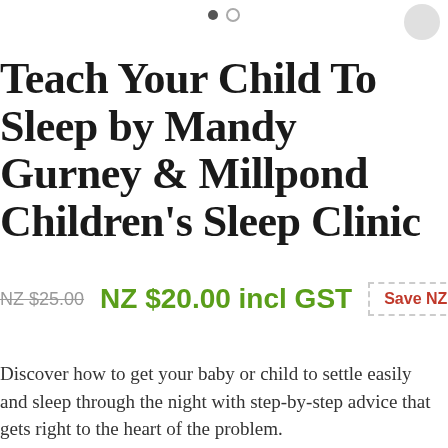Teach Your Child To Sleep by Mandy Gurney & Millpond Children's Sleep Clinic
NZ $25.00  NZ $20.00 incl GST  Save NZ $5.00
Discover how to get your baby or child to settle easily and sleep through the night with step-by-step advice that gets right to the heart of the problem.